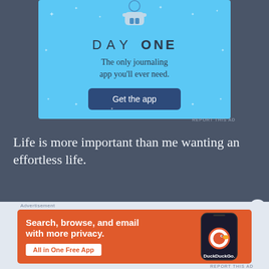[Figure (infographic): Day One journaling app advertisement with light blue background, person illustration, DAY ONE title, subtitle 'The only journaling app you'll ever need.' and 'Get the app' button]
REPORT THIS AD
Life is more important than me wanting an effortless life.
Giving shelter to a lost soul – even a dog – has more purpose than making life easy for myself.
Advertisement
[Figure (infographic): DuckDuckGo advertisement with orange background showing 'Search, browse, and email with more privacy. All in One Free App' with DuckDuckGo logo on phone]